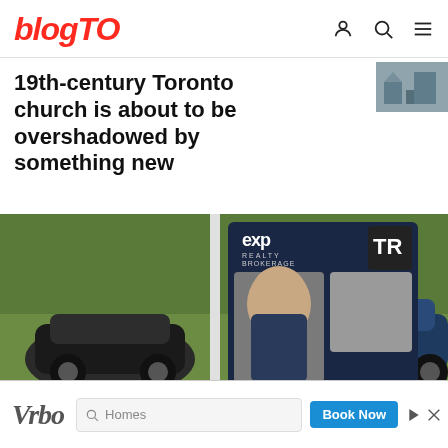blogTO
19th-century Toronto church is about to be overshadowed by something new
[Figure (photo): Real estate sign in a yard reading 'exp REALTY BROKERAGE' and 'NOT HAUNTED' with a realtor's photo on the sign, cars parked in background on grass]
[Figure (photo): Vrbo advertisement banner with 'Q Homes' search bar and 'Book Now' button]